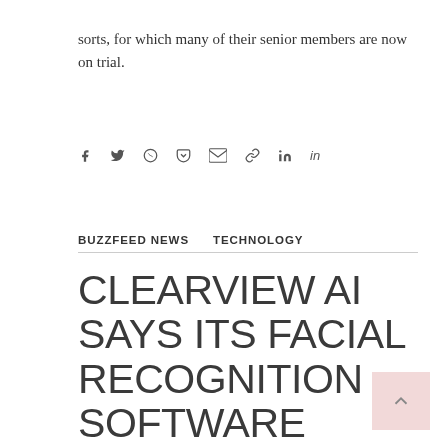sorts, for which many of their senior members are now on trial.
[Figure (other): Social sharing icons: Facebook, Twitter, WhatsApp, Pocket, Gmail, link, LinkedIn]
BUZZFEED NEWS   TECHNOLOGY
CLEARVIEW AI SAYS ITS FACIAL RECOGNITION SOFTWARE IDENTIFIED A TERRORISM SUSPECT. THE COPS SAY THAT'S NOT TRUE.